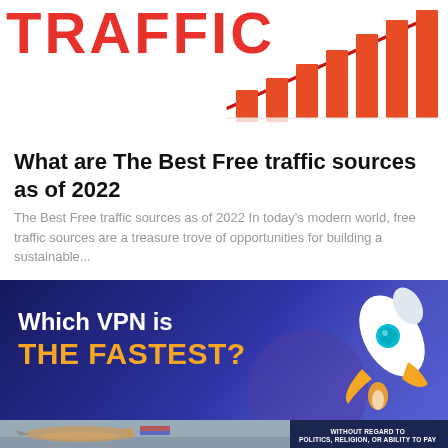[Figure (illustration): Partial view of word TRAFFIC in bold red text with a rising bar chart graphic with red bars and upward trending arrow on white background]
What are The Best Free traffic sources as of 2022
The Best Free traffic sources as of 2022 In today's modern world, free traffic sources are a treasure trove of opportunities for building a sustainable...
[Figure (infographic): Dark blue banner with text 'Which VPN is THE FASTEST?' in white and orange, with a rocket ship illustration on the right side]
[Figure (photo): Bottom strip showing cargo airplane on tarmac on the left, and a dark blue box on the right with text 'WITHOUT REGARD TO POLITICS, RELIGION, OR ABILITY TO PAY']